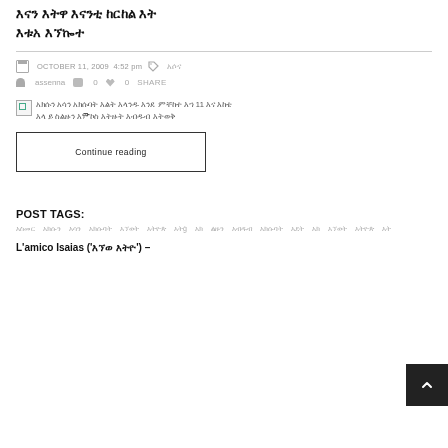[Tigrinya script title text]
OCTOBER 11, 2009  4:52 pm  [Tigrinya tag]  assenna  0  0  SHARE
[Figure (other): Broken/loading image thumbnail next to Tigrinya article text excerpt]
Continue reading
POST TAGS:
[Multiple Tigrinya tag words in two rows]
L'amico Isaias ('[Tigrinya script]') –